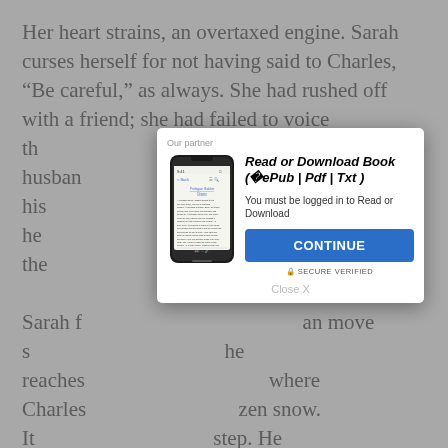Her heart strains, an overtaxed engine. Sarah curses herself for not having said to Charles, “Be careful,” as always. She had rushed off with a friend; she had failed to voice th… her husban… ack over his… âand then he… ne to find the…
Sarah f… an move s… he reaches… where Charles… zen snow. It… step. He was…
Sarah w… and moves o… in the depressions Charles left, thinking wildly,
Whither thou goest
. Her pace now is unbearably slow. Her pulse thuds in her
[Figure (screenshot): Modal dialog overlay on a webpage showing a book download prompt. Contains a phone illustration showing a book page, bold italic title 'Read or Download Book (￼ePub | Pdf | Txt)', subtitle 'You must be logged in to Read or Download', a blue CONTINUE button, SECURE VERIFIED text, and a Close X link. Above the modal content is 'Our partner' label.]